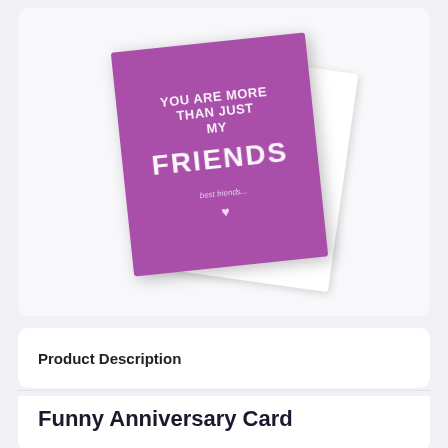[Figure (photo): A purple greeting card with white bold text reading 'FRIENDS' and smaller text above it, tilted at an angle on a white background. The card features a heart symbol at the bottom.]
Product Description
Funny Anniversary Card